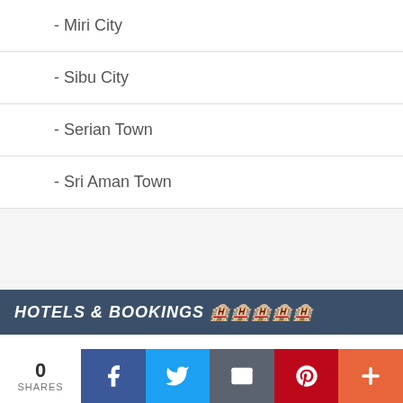- Miri City
- Sibu City
- Serian Town
- Sri Aman Town
HOTELS & BOOKINGS 호텔예약
Agoda.com
Booking.com
0 SHARES